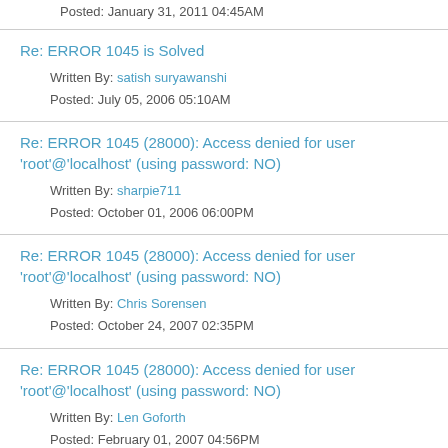Posted: January 31, 2011 04:45AM
Re: ERROR 1045 is Solved
Written By: satish suryawanshi
Posted: July 05, 2006 05:10AM
Re: ERROR 1045 (28000): Access denied for user 'root'@'localhost' (using password: NO)
Written By: sharpie711
Posted: October 01, 2006 06:00PM
Re: ERROR 1045 (28000): Access denied for user 'root'@'localhost' (using password: NO)
Written By: Chris Sorensen
Posted: October 24, 2007 02:35PM
Re: ERROR 1045 (28000): Access denied for user 'root'@'localhost' (using password: NO)
Written By: Len Goforth
Posted: February 01, 2007 04:56PM
Re: ERROR 1045 (28000): Access denied for user